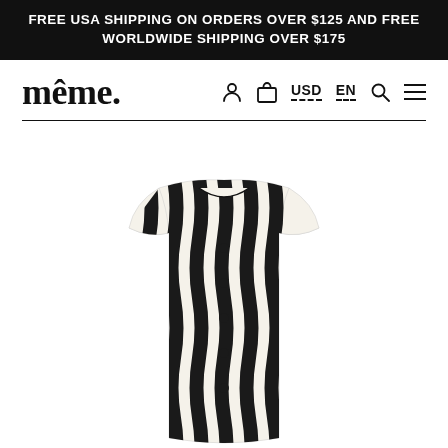FREE USA SHIPPING ON ORDERS OVER $125 AND FREE WORLDWIDE SHIPPING OVER $175
même.
[Figure (screenshot): Navigation bar with user/cart icons, USD and EN selectors with dashed underlines, a search icon, and a hamburger menu icon]
[Figure (photo): A cream/off-white short-sleeved top with a dark navy/black wavy vertical stripe pattern and button-front placket, displayed on a white background]